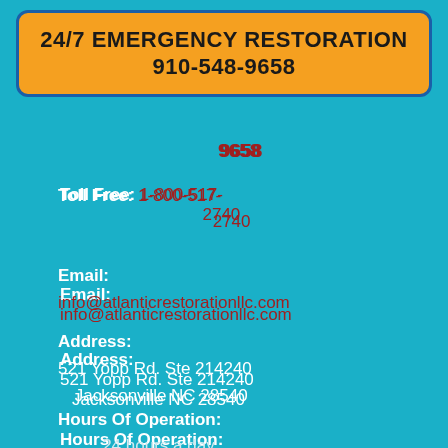24/7 EMERGENCY RESTORATION
910-548-9658
9658
Toll Free: 1-800-517-2740
Email: info@atlanticrestorationllc.com
Address: 521 Yopp Rd. Ste 214240 Jacksonville NC 28540
Hours Of Operation: 24 hours a day 7 days a week 365 days a year